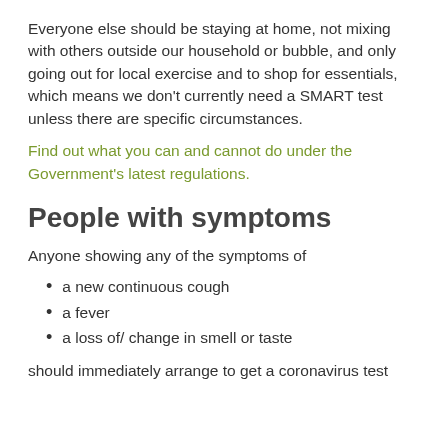Everyone else should be staying at home, not mixing with others outside our household or bubble, and only going out for local exercise and to shop for essentials, which means we don't currently need a SMART test unless there are specific circumstances.
Find out what you can and cannot do under the Government's latest regulations.
People with symptoms
Anyone showing any of the symptoms of
a new continuous cough
a fever
a loss of/ change in smell or taste
should immediately arrange to get a coronavirus test